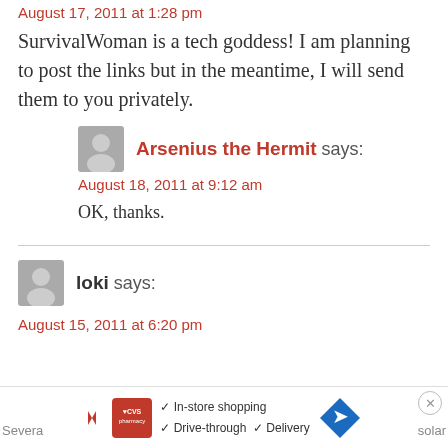August 17, 2011 at 1:28 pm
SurvivalWoman is a tech goddess! I am planning to post the links but in the meantime, I will send them to you privately.
Arsenius the Hermit says:
August 18, 2011 at 9:12 am
OK, thanks.
loki says:
August 15, 2011 at 6:20 pm
[Figure (other): Advertisement bar with CVS pharmacy logo and text: In-store shopping, Drive-through, Delivery]